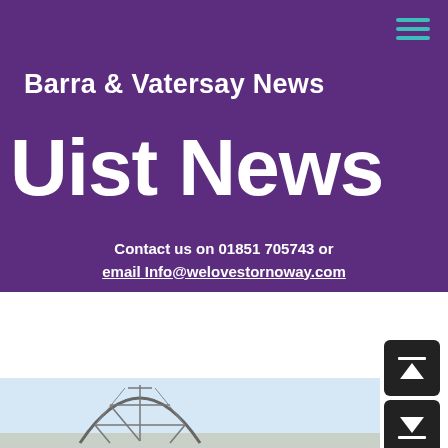Barra & Vatersay News
Uist News
Contact us on 01851 705743 or email Info@welovestornoway.com
[Figure (photo): Partial view of a geodesic dome or metal arch structure against a light sky, visible at the bottom of the page]